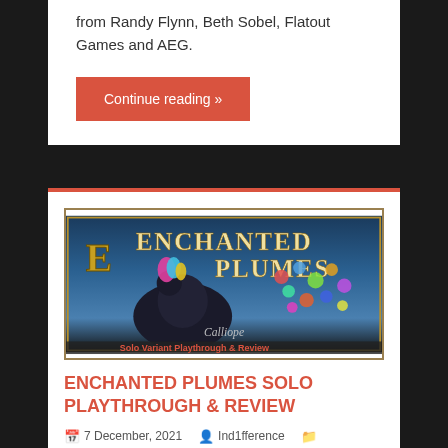from Randy Flynn, Beth Sobel, Flatout Games and AEG.
Continue reading »
[Figure (photo): Enchanted Plumes board game box art showing a peacock with colorful feathers, featuring the Calliope Games logo. Title text reads 'ENCHANTED PLUMES'. Bottom shows partial text 'Solo Variant Playthrough & Review'.]
ENCHANTED PLUMES SOLO PLAYTHROUGH & REVIEW
7 December, 2021   Ind1fference